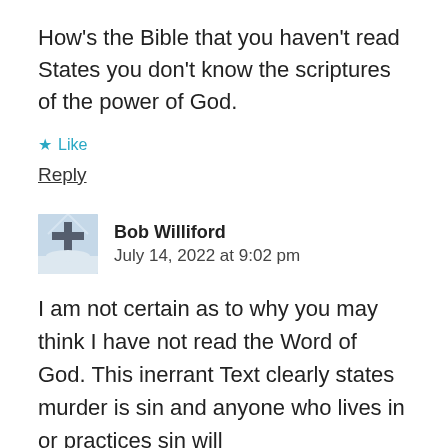How's the Bible that you haven't read States you don't know the scriptures of the power of God.
★ Like
Reply
Bob Williford
July 14, 2022 at 9:02 pm
I am not certain as to why you may think I have not read the Word of God. This inerrant Text clearly states murder is sin and anyone who lives in or practices sin will